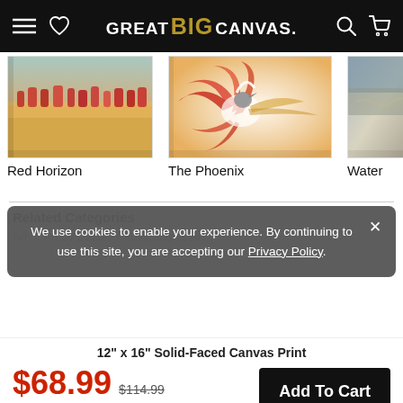GREAT BIG CANVAS.
[Figure (photo): Canvas art product 'Red Horizon' - abstract landscape painting with red trees and golden field]
[Figure (photo): Canvas art product 'The Phoenix' - bird painting with red and orange feathers]
[Figure (photo): Canvas art product 'Water...' - partially visible blue/grey watercolor painting]
Red Horizon
The Phoenix
Water
Related Categories
We use cookies to enable your experience. By continuing to use this site, you are accepting our Privacy Policy.
Art    Art by Decor    Inspirational Art
12" x 16" Solid-Faced Canvas Print
$68.99  $114.99  40% OFF - Ends Soon!